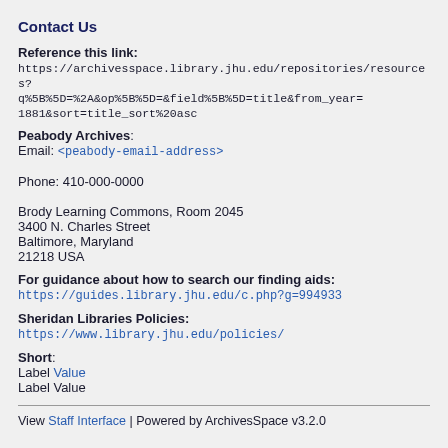Contact Us
Reference this link:
https://archivesspace.library.jhu.edu/repositories/resources?q%5B%5D=%2A&op%5B%5D=&field%5B%5D=title&from_year=1881&sort=title_sort%20asc
Peabody Archives:
Email: <peabody-email-address>
Phone: 410-000-0000
Brody Learning Commons, Room 2045
3400 N. Charles Street
Baltimore, Maryland
21218 USA
For guidance about how to search our finding aids:
https://guides.library.jhu.edu/c.php?g=994933
Sheridan Libraries Policies:
https://www.library.jhu.edu/policies/
Short:
Label Value
Label Value
View Staff Interface | Powered by ArchivesSpace v3.2.0